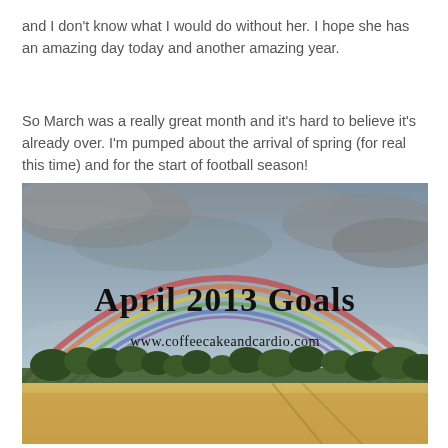and I don't know what I would do without her. I hope she has an amazing day today and another amazing year.
So March was a really great month and it's hard to believe it's already over. I'm pumped about the arrival of spring (for real this time) and for the start of football season!
[Figure (photo): A rainbow over a countryside scene with green trees and a golden field, overlaid with text reading 'April 2013 Goals' and 'www.coffeecakeandcardio.com']